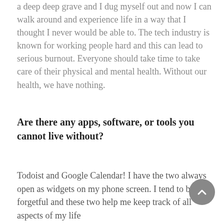a deep deep grave and I dug myself out and now I can walk around and experience life in a way that I thought I never would be able to. The tech industry is known for working people hard and this can lead to serious burnout. Everyone should take time to take care of their physical and mental health. Without our health, we have nothing.
Are there any apps, software, or tools you cannot live without?
Todoist and Google Calendar! I have the two always open as widgets on my phone screen. I tend to be a bit forgetful and these two help me keep track of all aspects of my life